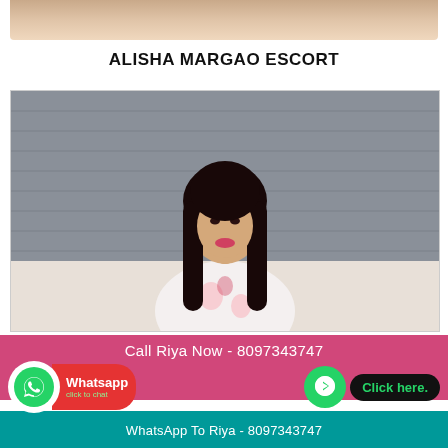[Figure (photo): Partial photo at top of page, cropped]
ALISHA MARGAO ESCORT
[Figure (photo): Photo of a young woman with long dark hair wearing a white floral dress, sitting in front of a tiled wall background]
Call Riya Now - 8097343747
[Figure (logo): WhatsApp button with green icon and red Whatsapp label with click to chat text]
[Figure (logo): Click here button with green phone icon on black background]
WhatsApp To Riya - 8097343747